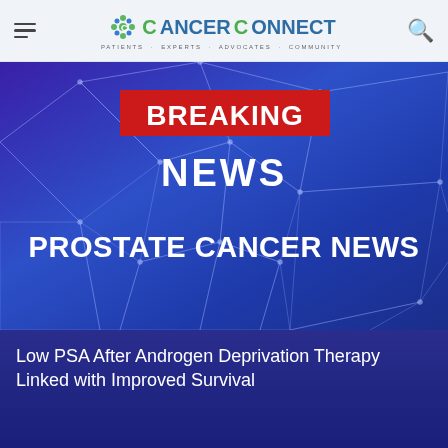CancerConnect — Patients · Experts · Advocates · Community
[Figure (screenshot): Hero banner with blue/purple geometric polygon background. Red rectangle badge reads BREAKING NEWS in white bold text. Below: PROSTATE CANCER NEWS in large white bold text.]
Low PSA After Androgen Deprivation Therapy Linked with Improved Survival